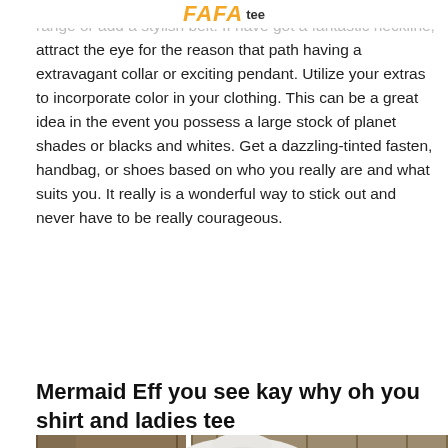fafa tee
range or add a stylish belt. If have got a fantastic neckline, attract the eye for the reason that path having a extravagant collar or exciting pendant. Utilize your extras to incorporate color in your clothing. This can be a great idea in the event you possess a large stock of planet shades or blacks and whites. Get a dazzling-tinted fasten, handbag, or shoes based on who you really are and what suits you. It really is a wonderful way to stick out and never have to be really courageous.
Mermaid Eff you see kay why oh you shirt and ladies tee
[Figure (photo): Product photo of a light grey t-shirt laid on a wooden surface]